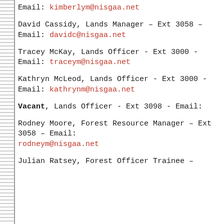Email: kimberlym@nisgaa.net
David Cassidy, Lands Manager – Ext 3058 – Email: davidc@nisgaa.net
Tracey McKay, Lands Officer - Ext 3000 - Email: traceym@nisgaa.net
Kathryn McLeod, Lands Officer - Ext 3000 - Email: kathrynm@nisgaa.net
Vacant, Lands Officer - Ext 3098 - Email:
Rodney Moore, Forest Resource Manager – Ext 3058 – Email: rodneym@nisgaa.net
Julian Ratsey, Forest Officer Trainee –